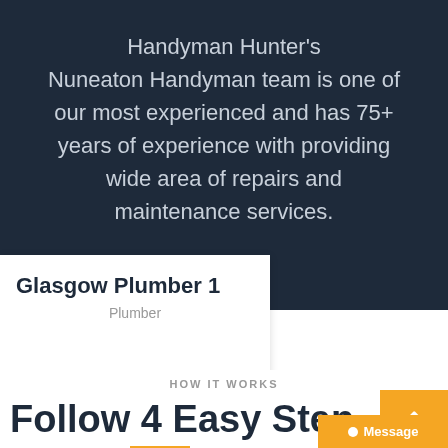Handyman Hunter's Nuneaton Handyman team is one of our most experienced and has 75+ years of experience with providing wide area of repairs and maintenance services.
Glasgow Plumber 1
Plumber
HOW IT WORKS
Follow 4 Easy Steps